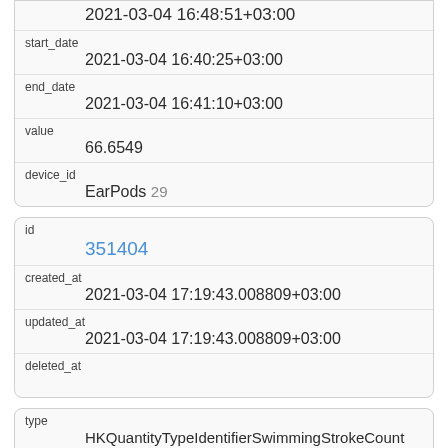| 2021-03-04 16:48:51+03:00 |
| start_date | 2021-03-04 16:40:25+03:00 |
| end_date | 2021-03-04 16:41:10+03:00 |
| value | 66.6549 |
| device_id | EarPods 29 |
| id | 351404 |
| created_at | 2021-03-04 17:19:43.008809+03:00 |
| updated_at | 2021-03-04 17:19:43.008809+03:00 |
| deleted_at |  |
| type | HKQuantityTypeIdentifierSwimmingStrokeCount |